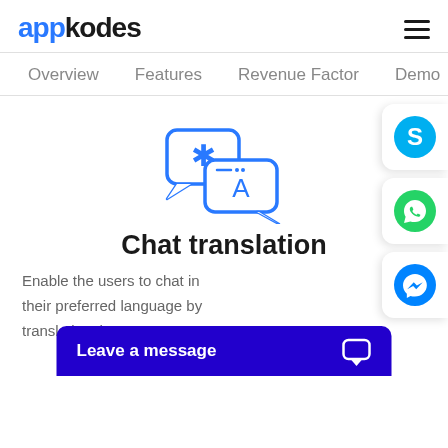appkodes
Overview  Features  Revenue Factor  Demo
[Figure (illustration): Two speech bubbles icon for chat translation: a larger bubble with a star/asterisk symbol (source language) and a smaller overlapping bubble with the letter A (target language), drawn in blue outline style.]
Chat translation
Enable the users to chat in their preferred language by translating the
[Figure (logo): Skype logo icon — white 'S' on cyan/blue circle background, shown in a white card on the right edge.]
[Figure (logo): WhatsApp logo icon — white phone handset on green circle, shown in a white card on the right edge.]
[Figure (logo): Facebook Messenger logo icon — white lightning bolt/speech bubble on blue circle, shown in a white card on the right edge.]
Leave a message